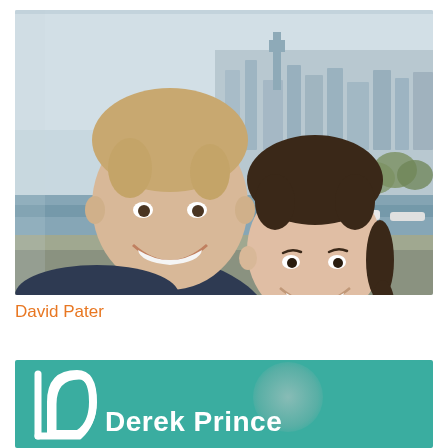[Figure (photo): Selfie photo of a young man and woman smiling, taken from a high vantage point (likely the London Eye) with an aerial view of London and the River Thames visible in the background.]
David Pater
[Figure (logo): Derek Prince Ministries branding banner: teal/green background with white Derek Prince logo (stylized D shape) on the left and white bold text 'Derek Prince' on the right.]